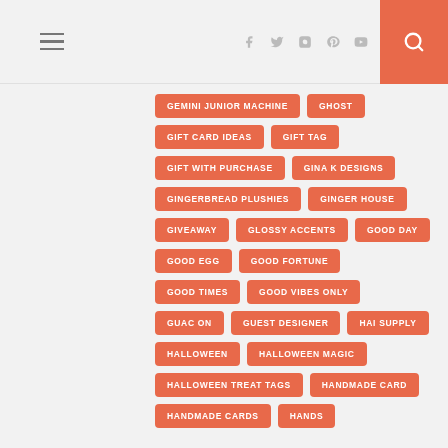Navigation header with hamburger menu, social icons, and search button
GEMINI JUNIOR MACHINE
GHOST
GIFT CARD IDEAS
GIFT TAG
GIFT WITH PURCHASE
GINA K DESIGNS
GINGERBREAD PLUSHIES
GINGER HOUSE
GIVEAWAY
GLOSSY ACCENTS
GOOD DAY
GOOD EGG
GOOD FORTUNE
GOOD TIMES
GOOD VIBES ONLY
GUAC ON
GUEST DESIGNER
HAI SUPPLY
HALLOWEEN
HALLOWEEN MAGIC
HALLOWEEN TREAT TAGS
HANDMADE CARD
HANDMADE CARDS
HANDS